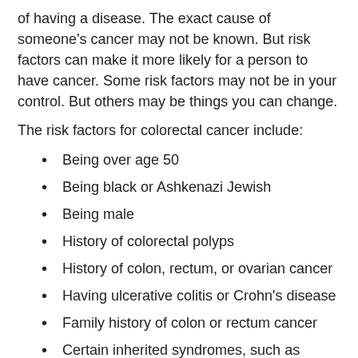of having a disease. The exact cause of someone's cancer may not be known. But risk factors can make it more likely for a person to have cancer. Some risk factors may not be in your control. But others may be things you can change.
The risk factors for colorectal cancer include:
Being over age 50
Being black or Ashkenazi Jewish
Being male
History of colorectal polyps
History of colon, rectum, or ovarian cancer
Having ulcerative colitis or Crohn's disease
Family history of colon or rectum cancer
Certain inherited syndromes, such as Lynch syndrome (HNPCC) or familial adenomatous